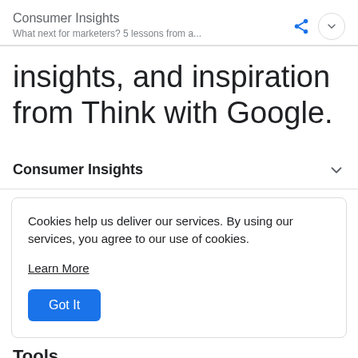Consumer Insights
What next for marketers? 5 lessons from a...
insights, and inspiration from Think with Google.
Consumer Insights
Cookies help us deliver our services. By using our services, you agree to our use of cookies.
Learn More
Got It
Tools